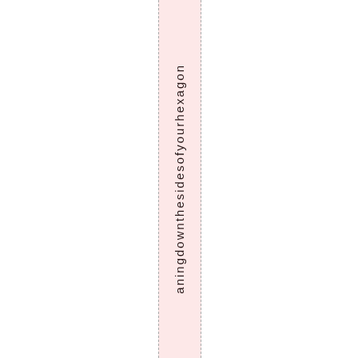a n i n g d o w n t h e s i d e s o f y o u r h e x a g o n